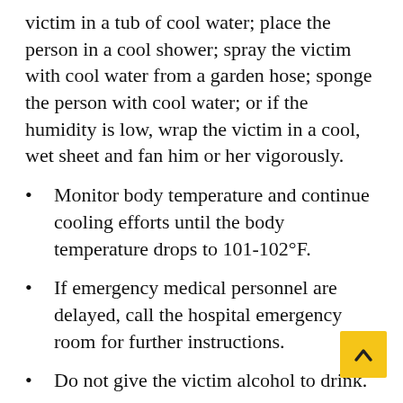victim in a tub of cool water; place the person in a cool shower; spray the victim with cool water from a garden hose; sponge the person with cool water; or if the humidity is low, wrap the victim in a cool, wet sheet and fan him or her vigorously.
Monitor body temperature and continue cooling efforts until the body temperature drops to 101-102°F.
If emergency medical personnel are delayed, call the hospital emergency room for further instructions.
Do not give the victim alcohol to drink.
Get medical assistance as soon as possible.